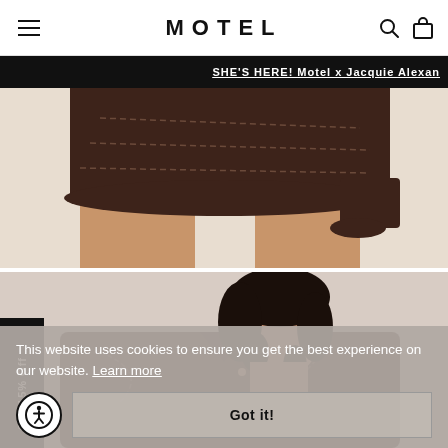MOTEL
SHE'S HERE! Motel x Jacquie Alexan
[Figure (photo): Cropped torso shot of a model wearing a brown faux leather mini skirt with contrast stitching, light background]
[Figure (photo): Woman with curly dark hair wearing a brown faux leather jacket with western-style stitching, looking back over her shoulder]
Get 15% Off
This website uses cookies to ensure you get the best experience on our website. Learn more
Got it!